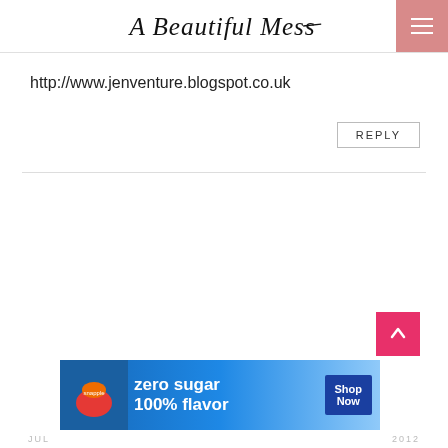A Beautiful Mess
http://www.jenventure.blogspot.co.uk
REPLY
[Figure (infographic): Advertisement banner: Snapple zero sugar 100% flavor - Shop Now - Available at Publix]
JUL ... 2012